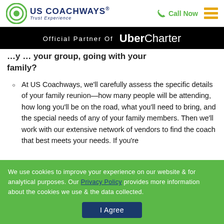US COACHWAYS® Trust Experience | Call Now
Official Partner Of Uber Charter
…y … family?
At US Coachways, we'll carefully assess the specific details of your family reunion—how many people will be attending, how long you'll be on the road, what you'll need to bring, and the special needs of any of your family members. Then we'll work with our extensive network of vendors to find the coach that best meets your needs. If you're
We use cookies to improve your experience on our website & for analytical purposes. Our Privacy Policy provides more information about the cookies we use & the data collected.